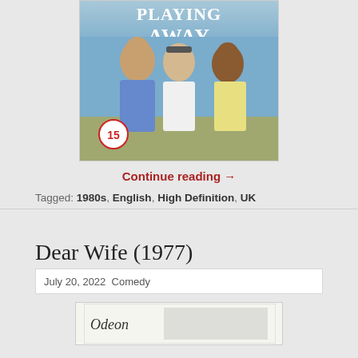[Figure (photo): DVD cover for the film 'Playing Away' showing three men on a cricket field, with a UK film rating badge of 15]
Continue reading →
Tagged: 1980s, English, High Definition, UK
Dear Wife (1977)
July 20, 2022  Comedy
[Figure (photo): Partial DVD cover image for Dear Wife (1977), showing the Odeon brand logo and partial image]